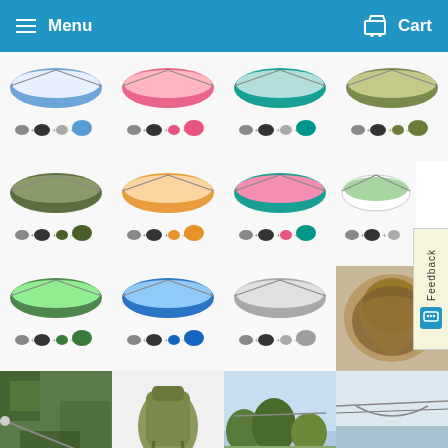Menu   Cart
[Figure (screenshot): E-commerce product listing page showing a grid of camping hammocks with mosquito nets in various colors (blue, pink, teal, olive, orange, green, gray). Products shown with accessory sets. Navigation header with Menu and Cart buttons. Feedback tab on right side.]